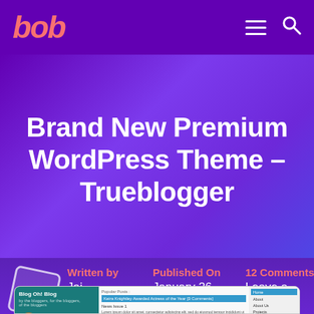bob — navigation bar with hamburger menu and search icon
Brand New Premium WordPress Theme – Trueblogger
Written by
Jai
Published On
January 26, 2008
12 Comments
Leave a Comment
[Figure (screenshot): Screenshot of the Trueblogger WordPress theme showing a blog layout with teal left sidebar titled 'Blog Oh! Blog', a center content area with a Popular Posts headline 'Keira Knightley Awarded Actress of the Year [3 Comments]' and 'News Issue 1', and a right sidebar with navigation links Home, About, About Us, Projects, Superman.]